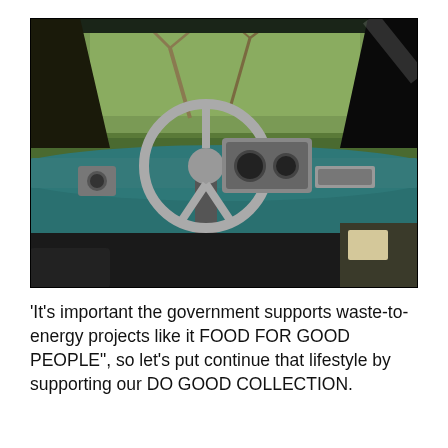[Figure (photo): Interior view of an old, weathered teal/turquoise vintage car dashboard with a steering wheel, gauges, and a cracked windshield revealing green trees and foliage in the background.]
'It's important the government supports waste-to-energy projects like it FOOD FOR GOOD PEOPLE", so let's put continue that lifestyle by supporting our DO GOOD COLLECTION.